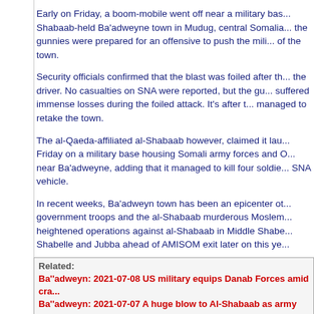Early on Friday, a boom-mobile went off near a military bas... Shabaab-held Ba'adweyne town in Mudug, central Somalia... the gunnies were prepared for an offensive to push the mili... of the town.
Security officials confirmed that the blast was foiled after th... the driver. No casualties on SNA were reported, but the gu... suffered immense losses during the foiled attack. It's after t... managed to retake the town.
The al-Qaeda-affiliated al-Shabaab however, claimed it lau... Friday on a military base housing Somali army forces and O... near Ba'adweyne, adding that it managed to kill four soldie... SNA vehicle.
In recent weeks, Ba'adweyn town has been an epicenter ot... government troops and the al-Shabaab murderous Moslem... heightened operations against al-Shabaab in Middle Shabe... Shabelle and Jubba ahead of AMISOM exit later on this ye...
Related:
Ba''adweyn: 2021-07-08 US military equips Danab Forces amid cra...
Ba''adweyn: 2021-07-07 A huge blow to Al-Shabaab as army captu...
Ba''adweyn: 2012-10-03 Senior Turkish official injured in central S...
Posted by: trailing wife || 07/18/2021 00:00 || Comments || Link || E-Mail|| [12...